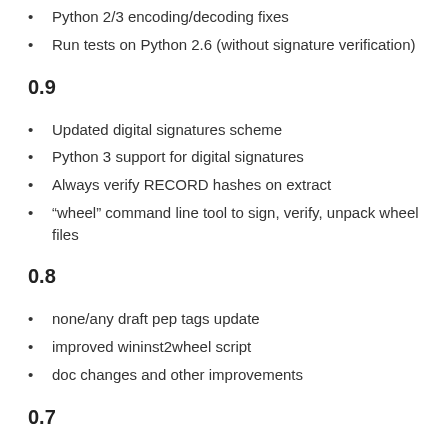Python 2/3 encoding/decoding fixes
Run tests on Python 2.6 (without signature verification)
0.9
Updated digital signatures scheme
Python 3 support for digital signatures
Always verify RECORD hashes on extract
“wheel” command line tool to sign, verify, unpack wheel files
0.8
none/any draft pep tags update
improved wininst2wheel script
doc changes and other improvements
0.7